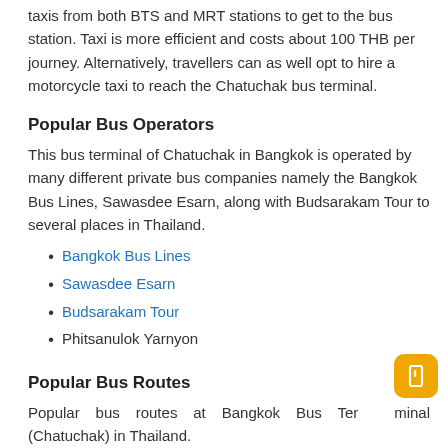taxis from both BTS and MRT stations to get to the bus station. Taxi is more efficient and costs about 100 THB per journey. Alternatively, travellers can as well opt to hire a motorcycle taxi to reach the Chatuchak bus terminal.
Popular Bus Operators
This bus terminal of Chatuchak in Bangkok is operated by many different private bus companies namely the Bangkok Bus Lines, Sawasdee Esarn, along with Budsarakam Tour to several places in Thailand.
Bangkok Bus Lines
Sawasdee Esarn
Budsarakam Tour
Phitsanulok Yarnyon
Popular Bus Routes
Popular bus routes at Bangkok Bus Terminal (Chatuchak) in Thailand.
Bus from Bangkok Bus Terminal (Chatuchak) to Chiang